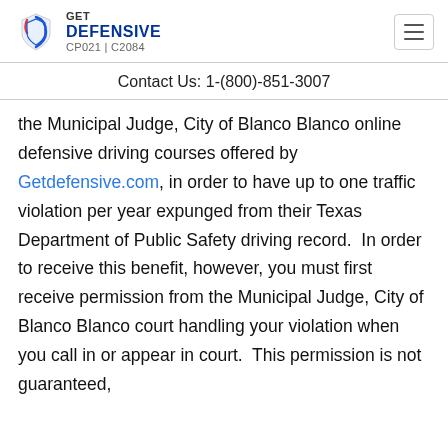GET DEFENSIVE CP021 | C2084
Contact Us: 1-(800)-851-3007
the Municipal Judge, City of Blanco Blanco online defensive driving courses offered by Getdefensive.com, in order to have up to one traffic violation per year expunged from their Texas Department of Public Safety driving record. In order to receive this benefit, however, you must first receive permission from the Municipal Judge, City of Blanco Blanco court handling your violation when you call in or appear in court. This permission is not guaranteed,